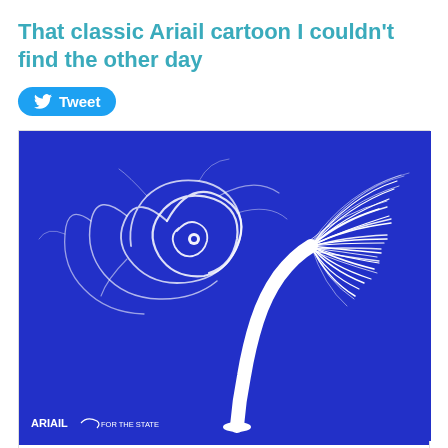That classic Ariail cartoon I couldn't find the other day
[Figure (illustration): Blue and white editorial cartoon showing a hurricane spiral on the left side and a palm tree bent sideways by wind on the right, with the tree's fronds blown horizontal. Signed 'ARIAIL FOR THE STATE'. Caption reads 'Bent - But Not Broken.']
Bent - But Not Broken.